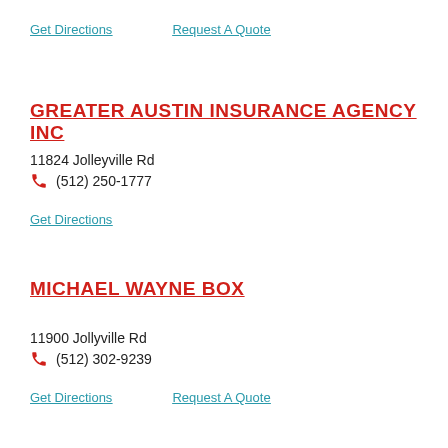Get Directions   Request A Quote
GREATER AUSTIN INSURANCE AGENCY INC
11824 Jolleyville Rd
(512) 250-1777
Get Directions
MICHAEL WAYNE BOX
11900 Jollyville Rd
(512) 302-9239
Get Directions   Request A Quote